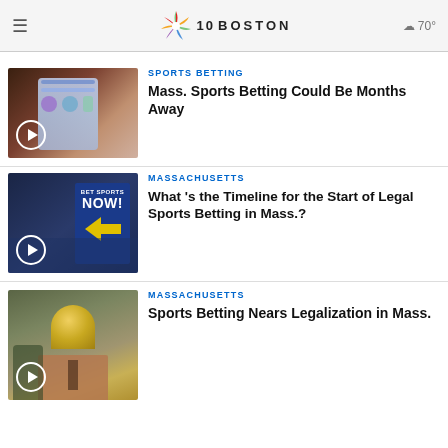NBC 10 BOSTON  70°
[Figure (screenshot): Thumbnail of a phone showing a sports betting app, with a play button overlay]
SPORTS BETTING
Mass. Sports Betting Could Be Months Away
[Figure (photo): BET SPORTS NOW! sign with yellow arrow, play button overlay]
MASSACHUSETTS
What 's the Timeline for the Start of Legal Sports Betting in Mass.?
[Figure (photo): Massachusetts State House with golden dome, play button overlay]
MASSACHUSETTS
Sports Betting Nears Legalization in Mass.